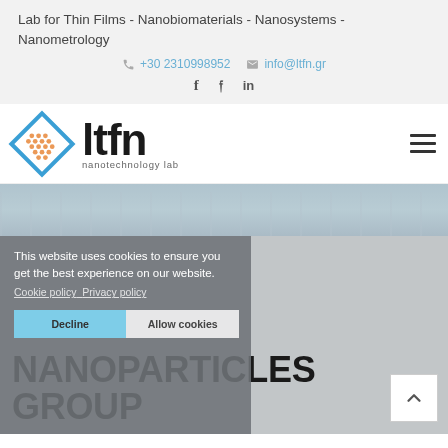Lab for Thin Films - Nanobiomaterials - Nanosystems - Nanometrology
+30 2310998952   info@ltfn.gr
[Figure (logo): LTFN nanotechnology lab logo with diamond shape and orange dots]
This website uses cookies to ensure you get the best experience on our website. Cookie policy  Privacy policy
Decline   Allow cookies
NANOPARTICLES GROUP